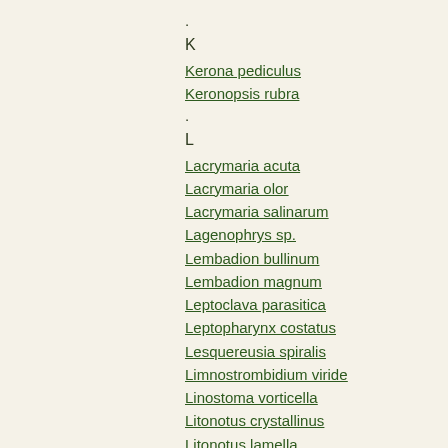.
K
Kerona pediculus
Keronopsis rubra
.
L
Lacrymaria acuta
Lacrymaria olor
Lacrymaria salinarum
Lagenophrys sp.
Lembadion bullinum
Lembadion magnum
Leptoclava parasitica
Leptopharynx costatus
Lesquereusia spiralis
Limnostrombidium viride
Linostoma vorticella
Litonotus crystallinus
Litonotus lamella
Litonotus sp
Loxodes magnus
Loxodes rostrum
Loxodes striatus